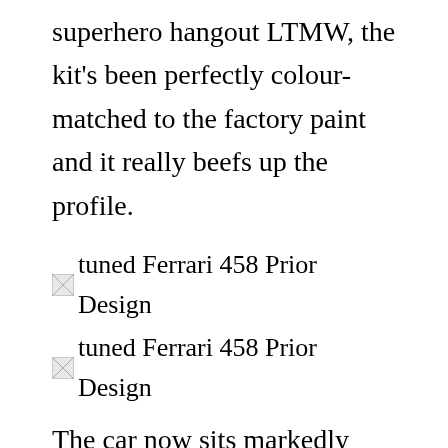superhero hangout LTMW, the kit's been perfectly colour-matched to the factory paint and it really beefs up the profile.
[Figure (photo): Broken image placeholder with alt text: tuned Ferrari 458 Prior Design]
[Figure (photo): Broken image placeholder with alt text: tuned Ferrari 458 Prior Design]
The car now sits markedly lower thanks to its Novitec springs, and the colossal wheels filling out those pumped-up arches, like a shot glass full of pure adrenaline cut with a dash of snake venom, are a custom set of rollers fabricated by the wheel wizards at